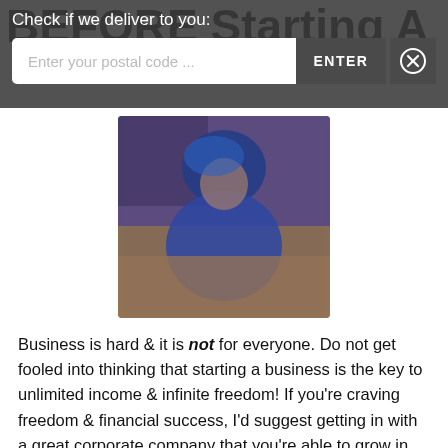BEFORE Starting A
Check if we deliver to you:
[Figure (screenshot): Postal code delivery check overlay with text input field, ENTER button, and close (X) button on dark semi-transparent background]
[Figure (photo): Blurred/pixelated photo of a person with blue hair wearing a blue outfit, sitting at a desk or table, indoor setting with brown tones in background]
Business is hard & it is not for everyone. Do not get fooled into thinking that starting a business is the key to unlimited income & infinite freedom! If you're craving freedom & financial success, I'd suggest getting in with a great corporate company that you're able to grow in. Working for someone else is the key to ultimate family & life balance. You get paid weeks of vacation, sick days, set hours (that are much less